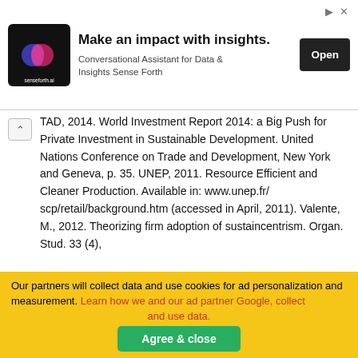[Figure (other): Advertisement banner for senseforth.ai: logo on left, headline 'Make an impact with insights.', subtext 'Conversational Assistant for Data & Insights Sense Forth', Open button on right]
TAD, 2014. World Investment Report 2014: a Big Push for Private Investment in Sustainable Development. United Nations Conference on Trade and Development, New York and Geneva, p. 35. UNEP, 2011. Resource Efficient and Cleaner Production. Available in: www.unep.fr/scp/retail/background.htm (accessed in April, 2011). Valente, M., 2012. Theorizing firm adoption of sustaincentrism. Organ. Stud. 33 (4),

563e591. Valentin, A., Spangenberg, J.H., 2000. A guide to community sustainability indicators. Environ. Impact Assess. Rev. 20 (3), 381e392. Vergragt, P., Akenji, L., Dewick, P., 2014. Sustainable production, consumption, and livelihoods: global and regional research perspectives. J. Clean. Prod. 63, 1e12. Vincent, U., Walle, J., Terrence, P., Svendin, J., 2015. Toi...
Our partners will collect data and use cookies for ad personalization and measurement. Learn how we and our ad partner Google, collect and use data.
Agree & close